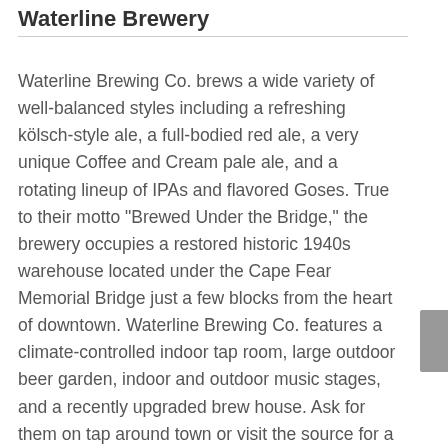Waterline Brewery
Waterline Brewing Co. brews a wide variety of well-balanced styles including a refreshing kölsch-style ale, a full-bodied red ale, a very unique Coffee and Cream pale ale, and a rotating lineup of IPAs and flavored Goses. True to their motto “Brewed Under the Bridge,” the brewery occupies a restored historic 1940s warehouse located under the Cape Fear Memorial Bridge just a few blocks from the heart of downtown. Waterline Brewing Co. features a climate-controlled indoor tap room, large outdoor beer garden, indoor and outdoor music stages, and a recently upgraded brew house. Ask for them on tap around town or visit the source for a flight, a pint, or a 32oz crowler you can take home or to the beach! Visit their Instagram, Facebook, or website to checkout the schedule of live music, food trucks, and special events. They have plenty of free parking. If